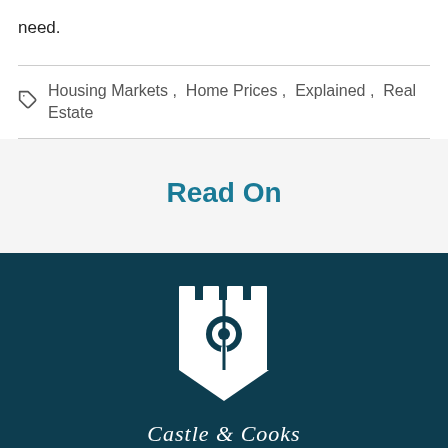need.
Housing Markets,  Home Prices,  Explained,  Real Estate
Read On
[Figure (logo): Castle & Cooke logo: white castle/shield with key icon on dark teal background, with text 'Castle & Cooke' below]